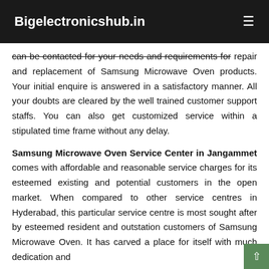Bigelectronicshub.in
can be contacted for your needs and requirements for repair and replacement of Samsung Microwave Oven products. Your initial enquire is answered in a satisfactory manner. All your doubts are cleared by the well trained customer support staffs. You can also get customized service within a stipulated time frame without any delay.
Samsung Microwave Oven Service Center in Jangammet comes with affordable and reasonable service charges for its esteemed existing and potential customers in the open market. When compared to other service centres in Hyderabad, this particular service centre is most sought after by esteemed resident and outstation customers of Samsung Microwave Oven. It has carved a place for itself with much dedication and